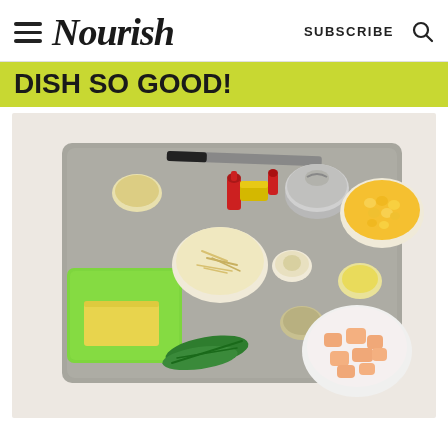Nourish — SUBSCRIBE
DISH SO GOOD!
[Figure (photo): Overhead flat-lay photo of cooking ingredients arranged on a metal baking tray: a green silicone storage bag with a yellow block of cheese, green beans, breadcrumbs in a small glass bowl, a knife/zester, condiment bottles (hot sauce, tomato paste, chili), a tin can, a bowl of shredded cheese, small bowls of garlic and spices, a bowl of corn kernels, a small bowl of olive oil, and a bowl of diced raw chicken.]